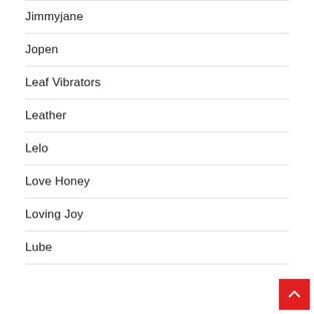Jimmyjane
Jopen
Leaf Vibrators
Leather
Lelo
Love Honey
Loving Joy
Lube